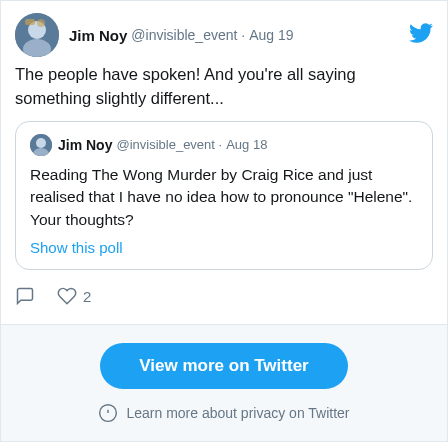Jim Noy @invisible_event · Aug 19
The people have spoken!  And you're all saying something slightly different...
Jim Noy @invisible_event · Aug 18
Reading The Wong Murder by Craig Rice and just realised that I have no idea how to pronounce "Helene".  Your thoughts?
Show this poll
View more on Twitter
Learn more about privacy on Twitter